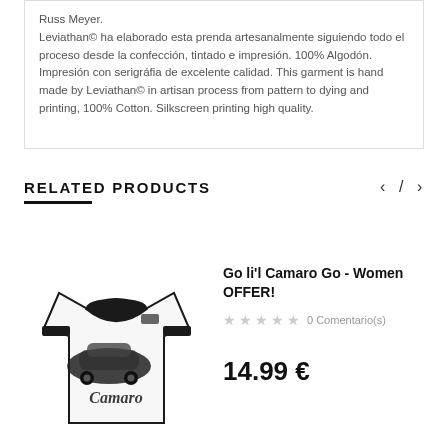Russ Meyer.
Leviathan© ha elaborado esta prenda artesanalmente siguiendo todo el proceso desde la confección, tintado e impresión. 100% Algodón. Impresión con serigráfia de excelente calidad. This garment is hand made by Leviathan© in artisan process from pattern to dying and printing, 100% Cotton. Silkscreen printing high quality.
RELATED PRODUCTS
[Figure (photo): White women's t-shirt with black trim and a Camaro graphic print]
Go li'l Camaro Go - Women OFFER!
0 Comentario(s)
14.99 €